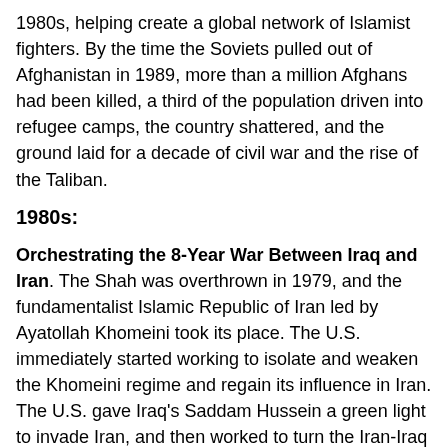1980s, helping create a global network of Islamist fighters. By the time the Soviets pulled out of Afghanistan in 1989, more than a million Afghans had been killed, a third of the population driven into refugee camps, the country shattered, and the ground laid for a decade of civil war and the rise of the Taliban.
1980s:
Orchestrating the 8-Year War Between Iraq and Iran. The Shah was overthrown in 1979, and the fundamentalist Islamic Republic of Iran led by Ayatollah Khomeini took its place. The U.S. immediately started working to isolate and weaken the Khomeini regime and regain its influence in Iran. The U.S. gave Iraq's Saddam Hussein a green light to invade Iran, and then worked to turn the Iran-Iraq War into an eight-year bloodbath. U.S. allies supplied Iraq with billions in weapons and material while also supplying Iran, playing both sides against each other to prevent either from winning. The death toll from the war is estimated to be at least